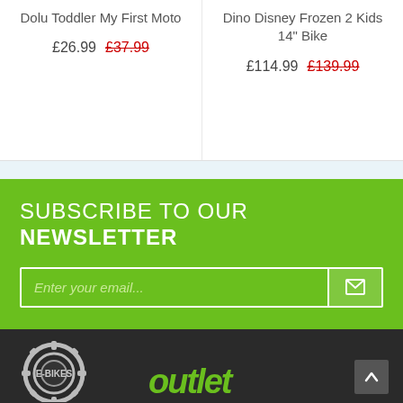Dolu Toddler My First Moto
£26.99  £37.99
Dino Disney Frozen 2 Kids 14" Bike
£114.99  £139.99
SUBSCRIBE TO OUR NEWSLETTER
Enter your email...
[Figure (logo): E-BIKES outlet store logo — gear icon with 'E-BIKES' text and stylized 'outlet' green graffiti text]
^